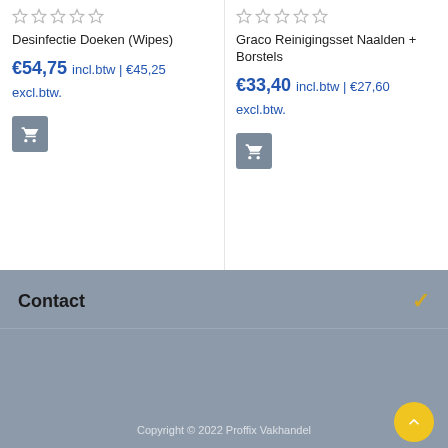[Figure (other): 5 empty star rating icons for product 1]
Desinfectie Doeken (Wipes)
€54,75 incl.btw | €45,25 excl.btw.
[Figure (other): Shopping cart button for product 1]
[Figure (other): 5 empty star rating icons for product 2]
Graco Reinigingsset Naalden + Borstels
€33,40 incl.btw | €27,60 excl.btw.
[Figure (other): Shopping cart button for product 2]
Contact
Copyright © 2022 Proffix Vakhandel